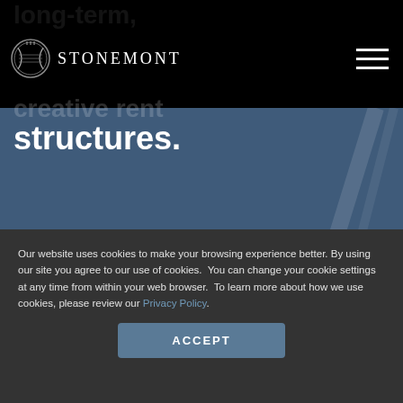STONEMONT
structures.
Our website uses cookies to make your browsing experience better. By using our site you agree to our use of cookies.  You can change your cookie settings at any time from within your web browser.  To learn more about how we use cookies, please review our Privacy Policy.
ACCEPT